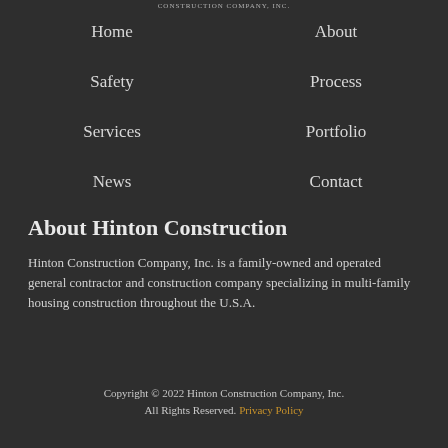CONSTRUCTION COMPANY, INC.
Home
About
Safety
Process
Services
Portfolio
News
Contact
About Hinton Construction
Hinton Construction Company, Inc. is a family-owned and operated general contractor and construction company specializing in multi-family housing construction throughout the U.S.A.
Copyright © 2022 Hinton Construction Company, Inc. All Rights Reserved. Privacy Policy